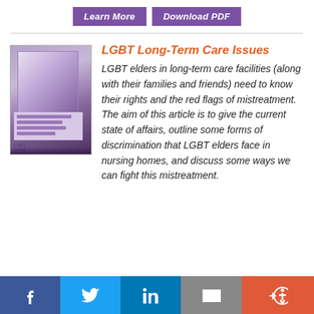Learn More | Download PDF
[Figure (photo): Book cover image related to LGBT aging topics, showing a tablet device with a book about knowledge and aging]
LGBT Long-Term Care Issues
LGBT elders in long-term care facilities (along with their families and friends) need to know their rights and the red flags of mistreatment. The aim of this article is to give the current state of affairs, outline some forms of discrimination that LGBT elders face in nursing homes, and discuss some ways we can fight this mistreatment.
Facebook | Twitter | LinkedIn | Email | More / Accessibility